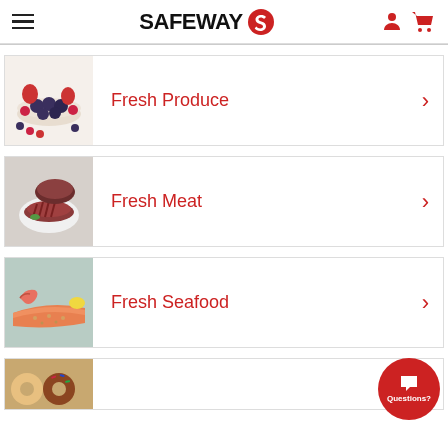SAFEWAY
Fresh Produce
Fresh Meat
Fresh Seafood
[Figure (photo): Safeway grocery app screenshot showing category navigation with Fresh Produce, Fresh Meat, Fresh Seafood sections and a Questions chat button]
Questions?